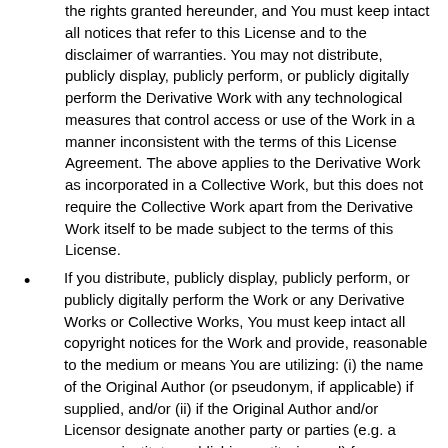the rights granted hereunder, and You must keep intact all notices that refer to this License and to the disclaimer of warranties. You may not distribute, publicly display, publicly perform, or publicly digitally perform the Derivative Work with any technological measures that control access or use of the Work in a manner inconsistent with the terms of this License Agreement. The above applies to the Derivative Work as incorporated in a Collective Work, but this does not require the Collective Work apart from the Derivative Work itself to be made subject to the terms of this License.
If you distribute, publicly display, publicly perform, or publicly digitally perform the Work or any Derivative Works or Collective Works, You must keep intact all copyright notices for the Work and provide, reasonable to the medium or means You are utilizing: (i) the name of the Original Author (or pseudonym, if applicable) if supplied, and/or (ii) if the Original Author and/or Licensor designate another party or parties (e.g. a sponsor institute, publishing entity, journal) for attribution in Licensor's copyright notice, terms of service or by other reasonable means, the name of such party or parties;